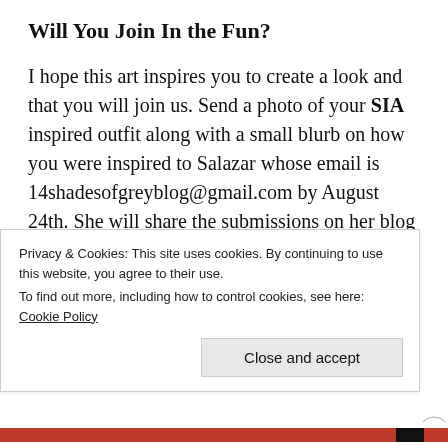Will You Join In the Fun?
I hope this art inspires you to create a look and that you will join us. Send a photo of your SIA inspired outfit along with a small blurb on how you were inspired to Salazar whose email is 14shadesofgreyblog@gmail.com by August 24th. She will share the submissions on her blog on Wednesday, August 25th.
Anyone can participate and you certainly do not
Privacy & Cookies: This site uses cookies. By continuing to use this website, you agree to their use.
To find out more, including how to control cookies, see here: Cookie Policy
Close and accept